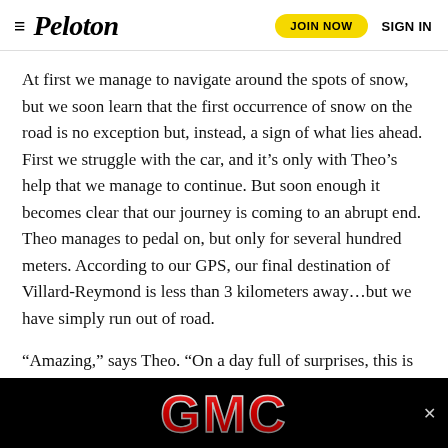≡ Peloton   JOIN NOW   SIGN IN
At first we manage to navigate around the spots of snow, but we soon learn that the first occurrence of snow on the road is no exception but, instead, a sign of what lies ahead. First we struggle with the car, and it's only with Theo's help that we manage to continue. But soon enough it becomes clear that our journey is coming to an abrupt end. Theo manages to pedal on, but only for several hundred meters. According to our GPS, our final destination of Villard-Reymond is less than 3 kilometers away…but we have simply run out of road.
“Amazing,” says Theo. “On a day full of surprises, this is the ultimate one. Waterfalls and avalanches I can navigate, but not 2 feet of snow. I’m not ready for that.”
Aware that Theo is being modest, we ask Theo
[Figure (logo): GMC logo in red metallic lettering on a black background banner advertisement overlay at the bottom of the page]